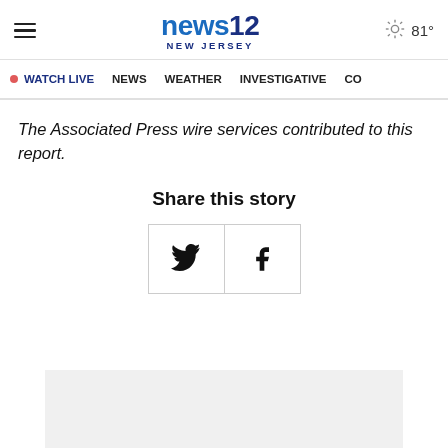news12 NEW JERSEY | 81°
WATCH LIVE  NEWS  WEATHER  INVESTIGATIVE  CO
The Associated Press wire services contributed to this report.
Share this story
[Figure (other): Share buttons: Twitter and Facebook icons side by side in a bordered box]
[Figure (other): Advertisement placeholder area, light gray rectangle at bottom of page]